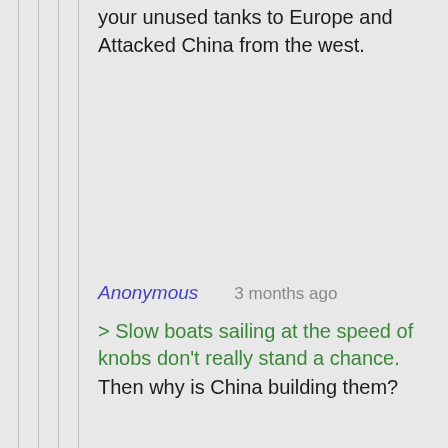better luck if you sent all your unused tanks to Europe and Attacked China from the west.
Anonymous   3 months ago

> Slow boats sailing at the speed of knobs don't really stand a chance.
Then why is China building them?
Anonymous   3 months ago

Their boats are missile platforms, made to sink your